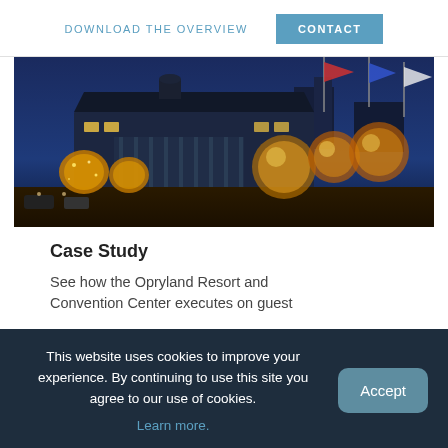DOWNLOAD THE OVERVIEW   CONTACT
[Figure (photo): Opryland Resort and Convention Center exterior at night, illuminated with Christmas lights on trees and large glowing spherical decorations, blue dusk sky in the background, flags flying overhead.]
Case Study
See how the Opryland Resort and Convention Center executes on guest
This website uses cookies to improve your experience. By continuing to use this site you agree to our use of cookies. Learn more.